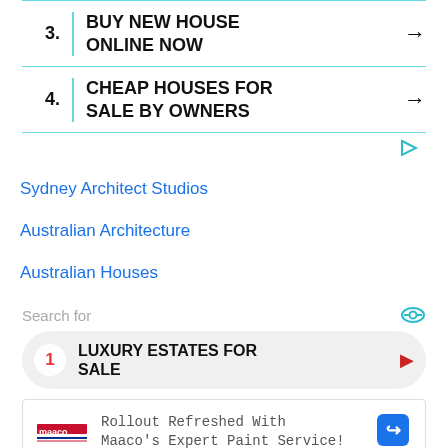3. BUY NEW HOUSE ONLINE NOW →
4. CHEAP HOUSES FOR SALE BY OWNERS →
Sydney Architect Studios
Australian Architecture
Australian Houses
Search for
1 LUXURY ESTATES FOR SALE ▶
Rollout Refreshed With Maaco's Expert Paint Service!